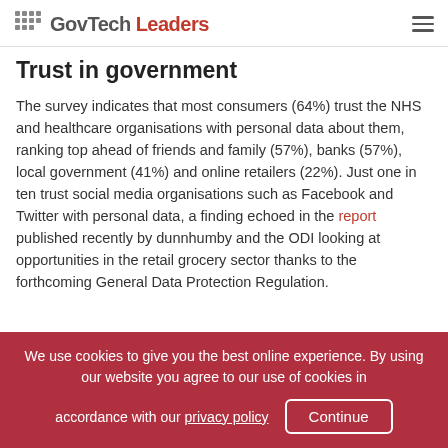GovTech Leaders
Trust in government
The survey indicates that most consumers (64%) trust the NHS and healthcare organisations with personal data about them, ranking top ahead of friends and family (57%), banks (57%), local government (41%) and online retailers (22%). Just one in ten trust social media organisations such as Facebook and Twitter with personal data, a finding echoed in the report published recently by dunnhumby and the ODI looking at opportunities in the retail grocery sector thanks to the forthcoming General Data Protection Regulation.
We use cookies to give you the best online experience. By using our website you agree to our use of cookies in accordance with our privacy policy  Continue